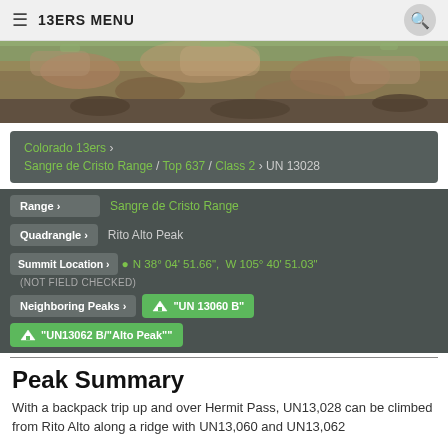13ERS MENU
[Figure (photo): Mountain rocky terrain with green vegetation and reddish-brown rocks]
Colorado 13ers › Sangre de Cristo Range / Top 637 / Class 2 › UN 13028
Range › Sangre de Cristo Range
Quadrangle › Rito Alto Peak
Summit Location › N 38° 04' 51.66",  W 105° 40' 51.03"
(NOT FIELD CHECKED)
Neighboring Peaks › "UN 13060 B" "UN13062 B/"Alto Peak""
Peak Summary
With a backpack trip up and over Hermit Pass, UN13,028 can be climbed from Rito Alto along a ridge with UN13,060 and UN13,062